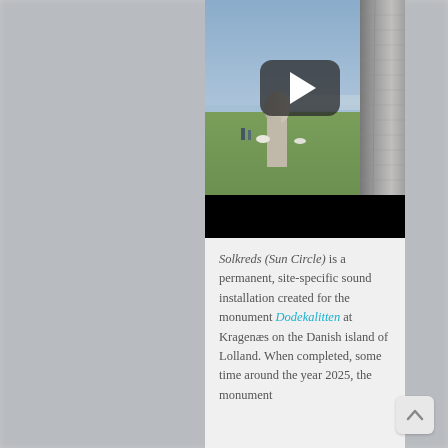[Figure (screenshot): Video thumbnail showing a large outdoor stone sculpture/monument (Dodekalitten). A tall stone pillar occupies the right side; in the background, a humanoid stone bust on a pedestal stands in a green field near the water. A YouTube-style dark rounded play button overlay is visible in the center of the image. Below the photo is a black bar.]
Solkreds (Sun Circle) is a permanent, site-specific sound installation created for the monument Dodekalitten at Kragenæs on the Danish island of Lolland. When completed, some time around the year 2025, the monument